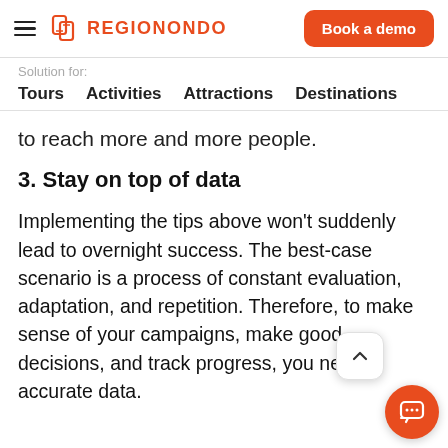REGIONONDO — Book a demo
Solution for:
Tours   Activities   Attractions   Destinations
to reach more and more people.
3. Stay on top of data
Implementing the tips above won't suddenly lead to overnight success. The best-case scenario is a process of constant evaluation, adaptation, and repetition. Therefore, to make sense of your campaigns, make good decisions, and track progress, you need accurate data.